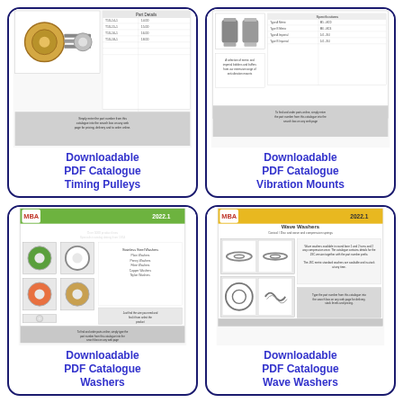[Figure (illustration): Downloadable PDF Catalogue card for Timing Pulleys showing a mini catalogue page thumbnail with timing belt/pulley image and part number table]
Downloadable PDF Catalogue Timing Pulleys
[Figure (illustration): Downloadable PDF Catalogue card for Vibration Mounts showing a mini catalogue page thumbnail with vibration mount images and table]
Downloadable PDF Catalogue Vibration Mounts
[Figure (illustration): Downloadable PDF Catalogue card for Washers showing MBA 2022.1 Washers and Spacers catalogue cover with washer images]
Downloadable PDF Catalogue Washers
[Figure (illustration): Downloadable PDF Catalogue card for Wave Washers showing MBA 2022.1 Wave Washers catalogue cover with wave washer images]
Downloadable PDF Catalogue Wave Washers